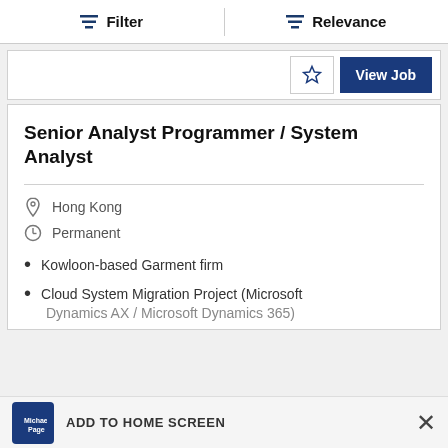Filter | Relevance
[Figure (screenshot): View Job button with star/bookmark icon, partially visible card]
Senior Analyst Programmer / System Analyst
Hong Kong
Permanent
Kowloon-based Garment firm
Cloud System Migration Project (Microsoft Dynamics AX / Microsoft Dynamics 365)
ADD TO HOME SCREEN